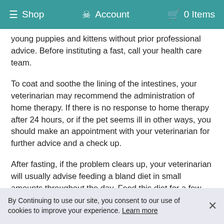☰ Shop   ♟ Account   🛒 0 Items
young puppies and kittens without prior professional advice. Before instituting a fast, call your health care team.
To coat and soothe the lining of the intestines, your veterinarian may recommend the administration of home therapy. If there is no response to home therapy after 24 hours, or if the pet seems ill in other ways, you should make an appointment with your veterinarian for further advice and a check up.
After fasting, if the problem clears up, your veterinarian will usually advise feeding a bland diet in small amounts throughout the day. Feed this diet for a few days in gradually increasing amounts until a formed stool is passed and then gradually wean your pet back to its regular food over the course of a week. If diarrhea persists, or there is evidence of blood or mucus in the stools, consult your veterinarian immediately. Some
By Continuing to use our site, you consent to our use of cookies to improve your experience. Learn more